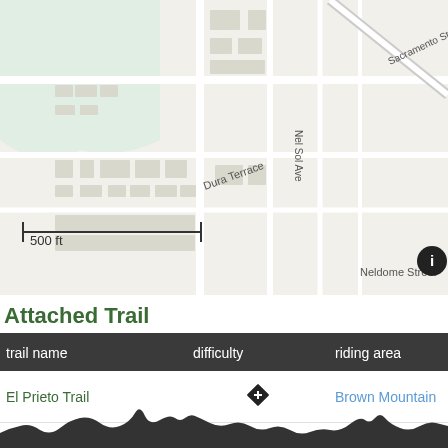[Figure (map): Street map showing neighborhood with streets including Sacramento St, Nel Sol Ave, Neldome Street, and Dura Terrace. Map scale shows 500 ft. Information icon in bottom right corner.]
Attached Trail
| trail name | difficulty | riding area |
| --- | --- | --- |
| El Prieto Trail | [double black diamond icon] | Brown Mountain |
By Jooorgeee ⚠
#51005
View more POIs in this region | View all POIs
[Figure (continuous-plot): Terrain elevation silhouette profile at the bottom of the page, dark gray mountain/hill shape.]